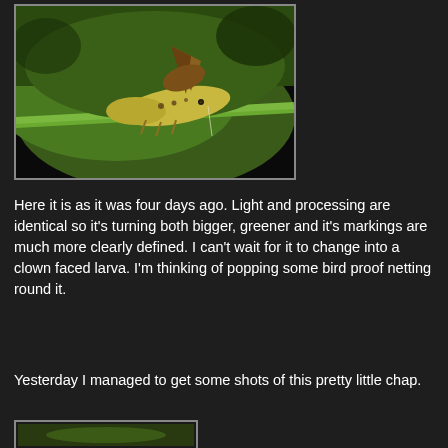[Figure (photo): Close-up macro photograph of a caterpillar larva with unusual horn-like protrusion on its back, sitting on a green leaf. The caterpillar appears yellowish-green with brown markings and spines.]
Here it is as it was four days ago. Light and processing are identical so it's turning both bigger, greener and it's markings are much more clearly defined. I can't wait for it to change into a clown faced larva. I'm thinking of popping some bird proof netting round it.
Yesterday I managed to get some shots of this pretty little chap.
[Figure (photo): Partially visible second photo thumbnail at the bottom of the page.]